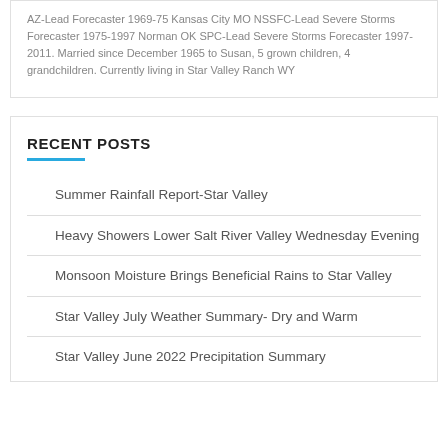AZ-Lead Forecaster 1969-75 Kansas City MO NSSFC-Lead Severe Storms Forecaster 1975-1997 Norman OK SPC-Lead Severe Storms Forecaster 1997-2011. Married since December 1965 to Susan, 5 grown children, 4 grandchildren. Currently living in Star Valley Ranch WY
RECENT POSTS
Summer Rainfall Report-Star Valley
Heavy Showers Lower Salt River Valley Wednesday Evening
Monsoon Moisture Brings Beneficial Rains to Star Valley
Star Valley July Weather Summary- Dry and Warm
Star Valley June 2022 Precipitation Summary